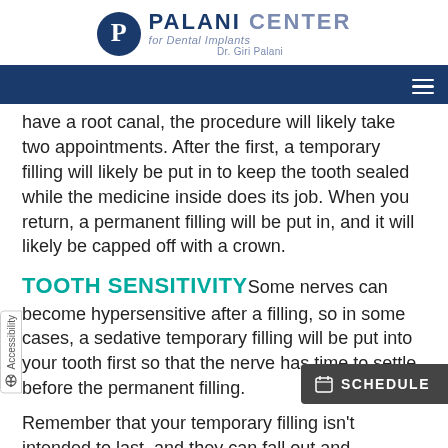[Figure (logo): Palani Center for Dental Implants logo with circular P emblem, Dr. Giri Palani]
have a root canal, the procedure will likely take two appointments. After the first, a temporary filling will likely be put in to keep the tooth sealed while the medicine inside does its job. When you return, a permanent filling will be put in, and it will likely be capped off with a crown.
TOOTH SENSITIVITY
Some nerves can become hypersensitive after a filling, so in some cases, a sedative temporary filling will be put into your tooth first so that the nerve has time to settle before the permanent filling.
Remember that your temporary filling isn't intended to last, and they can fall out and